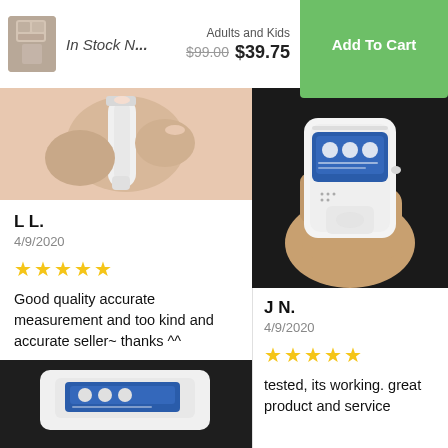In Stock N...
Adults and Kids
$99.00  $39.75
Add To Cart
[Figure (photo): Close-up photo of a hand holding a white thermometer device, pink background]
L L.
4/9/2020
★★★★★
Good quality accurate measurement and too kind and accurate seller~ thanks ^^
[Figure (photo): Small thumbnail of No Contact Infrared Forehead Thermometer]
No Contact Infrared Forehead Thermometer – For Adults or Kids
[Figure (photo): Photo of infrared thermometer on dark background, bottom portion visible]
[Figure (photo): Photo of a hand holding a white infrared gun thermometer with blue label panel, dark background]
J N.
4/9/2020
★★★★★
tested, its working. great product and service